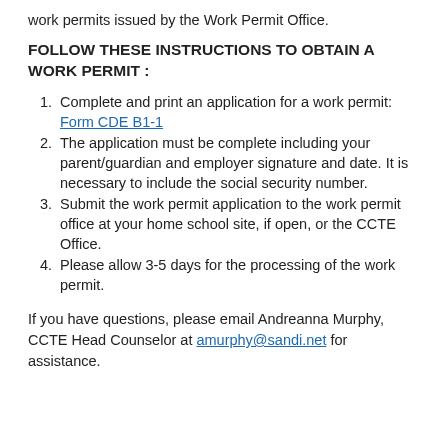work permits issued by the Work Permit Office.
FOLLOW THESE INSTRUCTIONS TO OBTAIN A WORK PERMIT :
Complete and print an application for a work permit: Form CDE B1-1
The application must be complete including your parent/guardian and employer signature and date. It is necessary to include the social security number.
Submit the work permit application to the work permit office at your home school site, if open, or the CCTE Office.
Please allow 3-5 days for the processing of the work permit.
If you have questions, please email Andreanna Murphy, CCTE Head Counselor at amurphy@sandi.net for assistance.